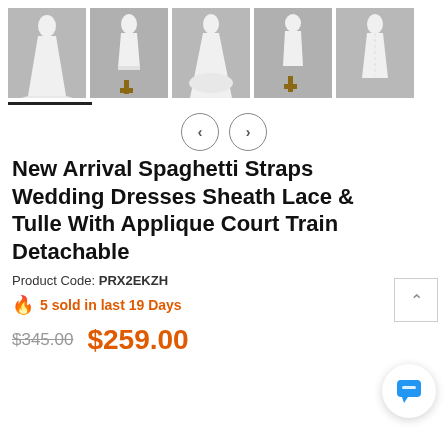[Figure (photo): Five thumbnail photos of a wedding dress in different angles and configurations (full gown, short, back view, etc.)]
New Arrival Spaghetti Straps Wedding Dresses Sheath Lace & Tulle With Applique Court Train Detachable
Product Code: PRX2EKZH
5 sold in last 19 Days
$345.00  $259.00